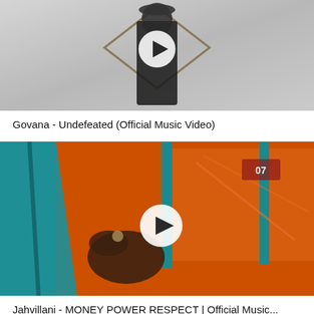[Figure (screenshot): Video thumbnail for 'Govana - Undefeated (Official Music Video)' showing a person in a dark coat in front of a diamond-shaped frame on a grey/white background, with a white play button overlay]
Govana - Undefeated (Official Music Video)
[Figure (screenshot): Video thumbnail for 'Jahvillani - MONEY POWER RESPECT | Official Music...' showing a tattooed hand near a teal-framed car window with orange interior, with a white play button overlay]
Jahvillani - MONEY POWER RESPECT | Official Music...